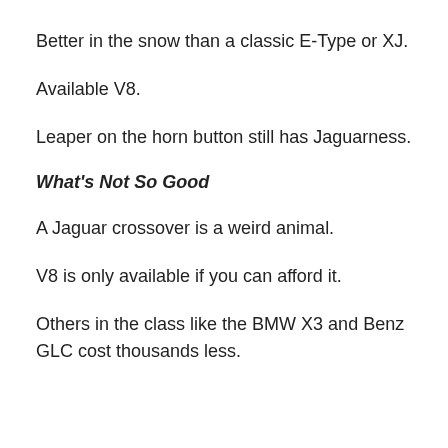Better in the snow than a classic E-Type or XJ.
Available V8.
Leaper on the horn button still has Jaguarness.
What's Not So Good
A Jaguar crossover is a weird animal.
V8 is only available if you can afford it.
Others in the class like the BMW X3 and Benz GLC cost thousands less.